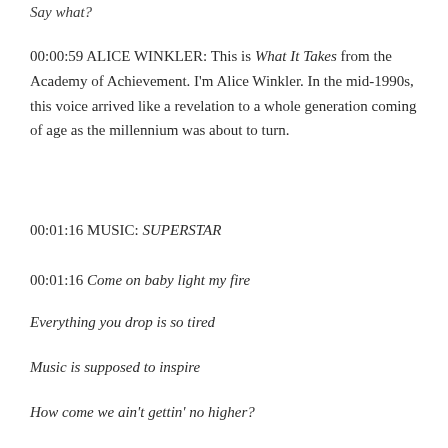Say what?
00:00:59 ALICE WINKLER: This is What It Takes from the Academy of Achievement. I'm Alice Winkler. In the mid-1990s, this voice arrived like a revelation to a whole generation coming of age as the millennium was about to turn.
00:01:16 MUSIC: SUPERSTAR
00:01:16 Come on baby light my fire
Everything you drop is so tired
Music is supposed to inspire
How come we ain't gettin' no higher?